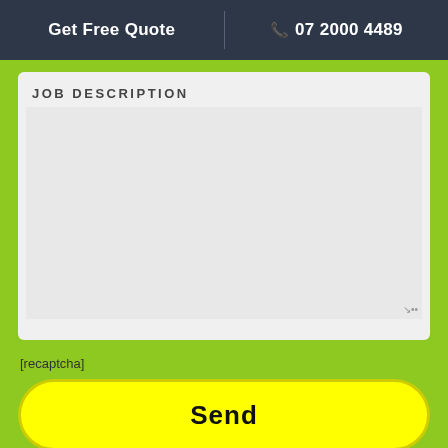Get Free Quote  |  07 2000 4489
JOB DESCRIPTION
[recaptcha]
Send